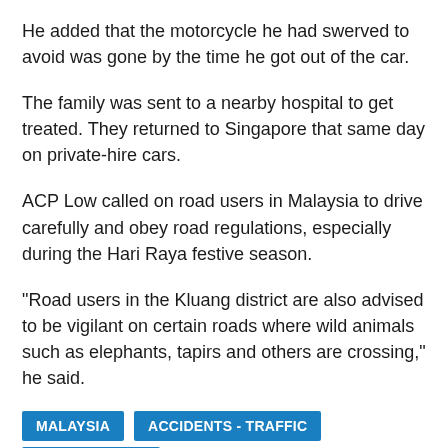He added that the motorcycle he had swerved to avoid was gone by the time he got out of the car.
The family was sent to a nearby hospital to get treated. They returned to Singapore that same day on private-hire cars.
ACP Low called on road users in Malaysia to drive carefully and obey road regulations, especially during the Hari Raya festive season.
"Road users in the Kluang district are also advised to be vigilant on certain roads where wild animals such as elephants, tapirs and others are crossing," he said.
MALAYSIA  ACCIDENTS - TRAFFIC  JOHOR BARU